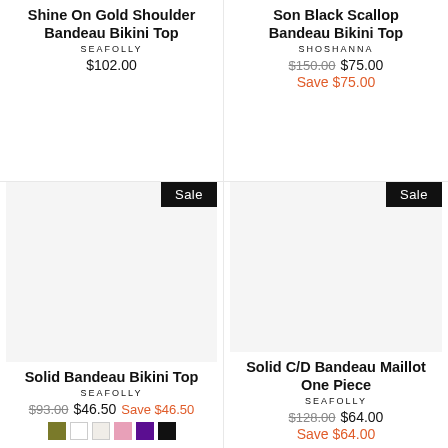Shine On Gold Shoulder Bandeau Bikini Top
SEAFOLLY
$102.00
Son Black Scallop Bandeau Bikini Top
SHOSHANNA
$150.00  $75.00
Save $75.00
Sale
Sale
Solid Bandeau Bikini Top
SEAFOLLY
$93.00  $46.50  Save $46.50
Solid C/D Bandeau Maillot One Piece
SEAFOLLY
$128.00  $64.00
Save $64.00